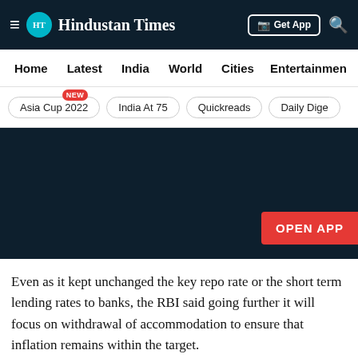Hindustan Times — Get App
Home | Latest | India | World | Cities | Entertainment
Asia Cup 2022 (NEW) | India At 75 | Quickreads | Daily Dige...
[Figure (other): Dark advertisement/app promotion region with OPEN APP button]
Even as it kept unchanged the key repo rate or the short term lending rates to banks, the RBI said going further it will focus on withdrawal of accommodation to ensure that inflation remains within the target.